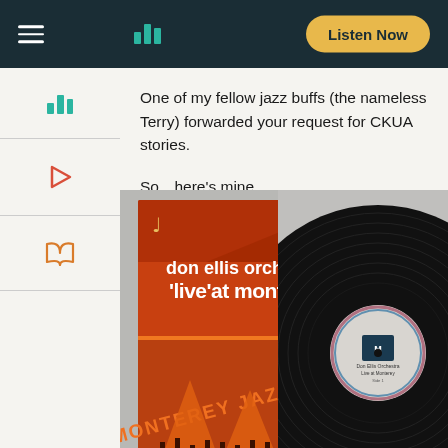Listen Now
One of my fellow jazz buffs (the nameless Terry) forwarded your request for CKUA stories.
So…here's mine.
[Figure (photo): Album cover of 'Don Ellis Orchestra Live at Monterey!' showing orange/red artwork with performers on stage, alongside a vinyl record showing the black disc and label.]